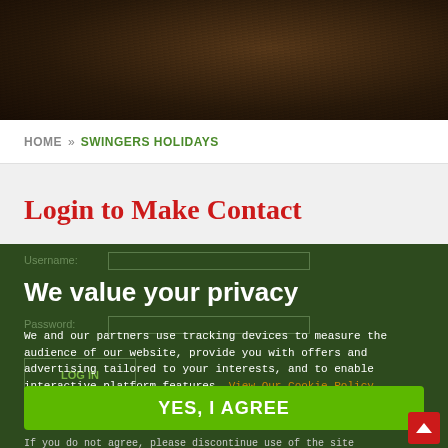[Figure (photo): Close-up photo of dark hair, partially obscuring earring, dark warm tones]
HOME » SWINGERS HOLIDAYS
Login to Make Contact
We value your privacy
We and our partners use tracking devices to measure the audience of our website, provide you with offers and advertising tailored to your interests, and to enable interactive platform features. View Our Cookie Policy
YES, I AGREE
If you do not agree, please discontinue use of the site